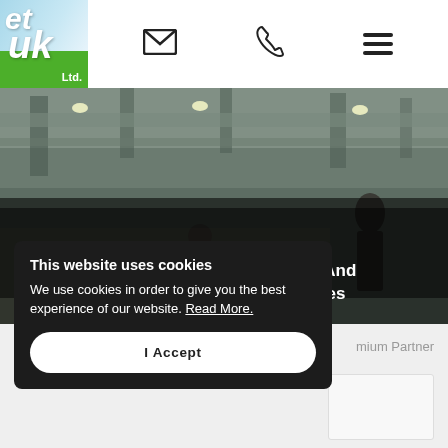[Figure (logo): ET UK Ltd. logo with sky and green grass background]
[Figure (illustration): Email envelope icon]
[Figure (illustration): Phone/telephone icon]
[Figure (illustration): Hamburger menu icon (three horizontal lines)]
[Figure (photo): Hero image of a commercial interior with exposed ductwork on the ceiling and office workers visible in the background]
Air Conditioning Installation And Maintenance In Milton Keynes
This website uses cookies
We use cookies in order to give you the best experience of our website. Read More.
I Accept
mium Partner